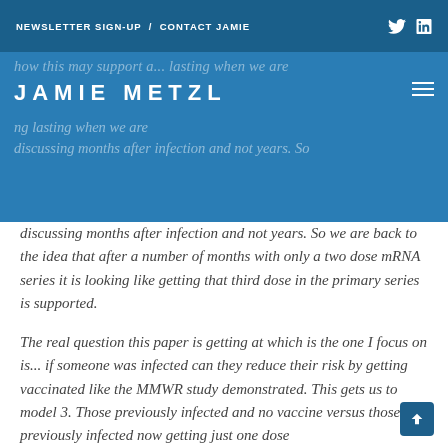NEWSLETTER SIGN-UP / CONTACT JAMIE
JAMIE METZL
discussing months after infection and not years. So we are back to the idea that after a number of months with only a two dose mRNA series it is looking like getting that third dose in the primary series is supported.
The real question this paper is getting at which is the one I focus on is... if someone was infected can they reduce their risk by getting vaccinated like the MMWR study demonstrated. This gets us to model 3. Those previously infected and no vaccine versus those previously infected now getting just one dose